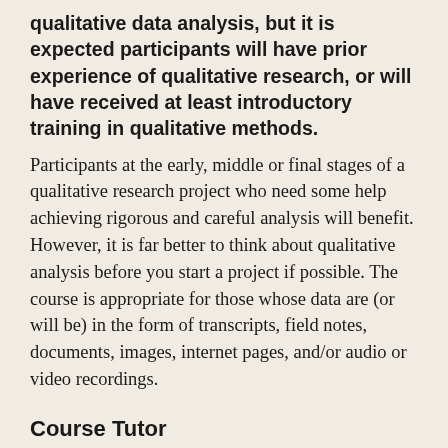qualitative data analysis, but it is expected participants will have prior experience of qualitative research, or will have received at least introductory training in qualitative methods.
Participants at the early, middle or final stages of a qualitative research project who need some help achieving rigorous and careful analysis will benefit. However, it is far better to think about qualitative analysis before you start a project if possible. The course is appropriate for those whose data are (or will be) in the form of transcripts, field notes, documents, images, internet pages, and/or audio or video recordings.
Course Tutor